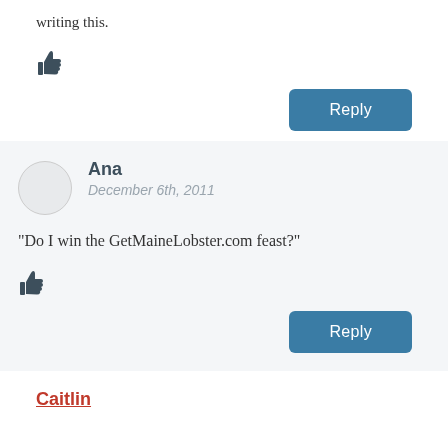writing this.
[Figure (other): Thumbs up icon]
Reply
Ana
December 6th, 2011
“Do I win the GetMaineLobster.com feast?”
[Figure (other): Thumbs up icon]
Reply
Caitlin